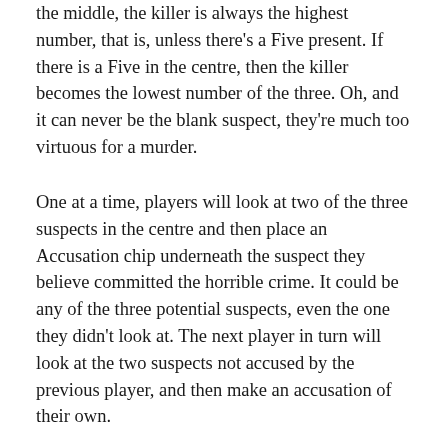the middle, the killer is always the highest number, that is, unless there's a Five present. If there is a Five in the centre, then the killer becomes the lowest number of the three. Oh, and it can never be the blank suspect, they're much too virtuous for a murder.
One at a time, players will look at two of the three suspects in the centre and then place an Accusation chip underneath the suspect they believe committed the horrible crime. It could be any of the three potential suspects, even the one they didn't look at. The next player in turn will look at the two suspects not accused by the previous player, and then make an accusation of their own.
Play progresses with each player investigated and then making their accusation in turn. Depending on what people see they may all accuse the same suspect or the suspicion may be spread around. Once everyone has made a bid the suspects are flipped and the real murderer is revealed.